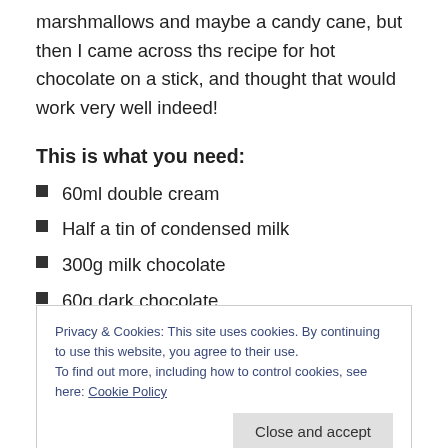marshmallows and maybe a candy cane, but then I came across ths recipe for hot chocolate on a stick, and thought that would work very well indeed!
This is what you need:
60ml double cream
Half a tin of condensed milk
300g milk chocolate
60g dark chocolate
Flavourings of your choice-I used vanilla extract, but
Privacy & Cookies: This site uses cookies. By continuing to use this website, you agree to their use.
To find out more, including how to control cookies, see here: Cookie Policy
and kept hold of the sticks to use at the end-cunning